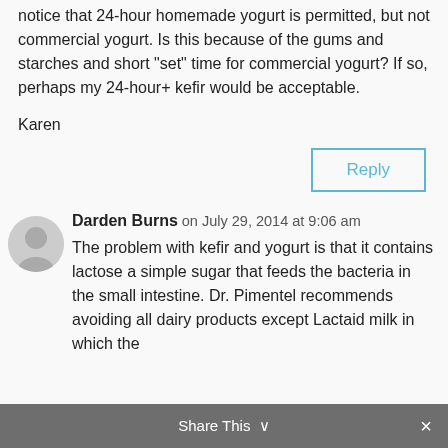notice that 24-hour homemade yogurt is permitted, but not commercial yogurt. Is this because of the gums and starches and short “set” time for commercial yogurt? If so, perhaps my 24-hour+ kefir would be acceptable.
Karen
Reply
Darden Burns on July 29, 2014 at 9:06 am
The problem with kefir and yogurt is that it contains lactose a simple sugar that feeds the bacteria in the small intestine. Dr. Pimentel recommends avoiding all dairy products except Lactaid milk in which the
Share This ⌵ ×